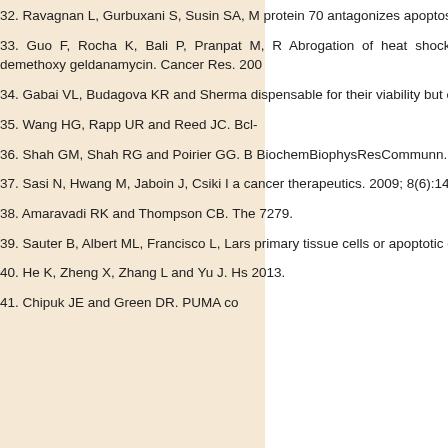32. Ravagnan L, Gurbuxani S, Susin SA, ... protein 70 antagonizes apoptosis-inducing ...
33. Guo F, Rocha K, Bali P, Pranpat M, ... Abrogation of heat shock protein 70 ind... demethoxy geldanamycin. Cancer Res. 200...
34. Gabai VL, Budagova KR and Sherma... dispensable for their viability but confers re...
35. Wang HG, Rapp UR and Reed JC. Bcl-...
36. Shah GM, Shah RG and Poirier GG. B... BiochemBiophysResCommunn. 1996; 229(3...
37. Sasi N, Hwang M, Jaboin J, Csiki I a... cancer therapeutics. 2009; 8(6):1421-1429.
38. Amaravadi RK and Thompson CB. The... 7279.
39. Sauter B, Albert ML, Francisco L, Lars... primary tissue cells or apoptotic cells, indu...
40. He K, Zheng X, Zhang L and Yu J. Hs... 2013.
41. Chipuk JE and Green DR. PUMA co...